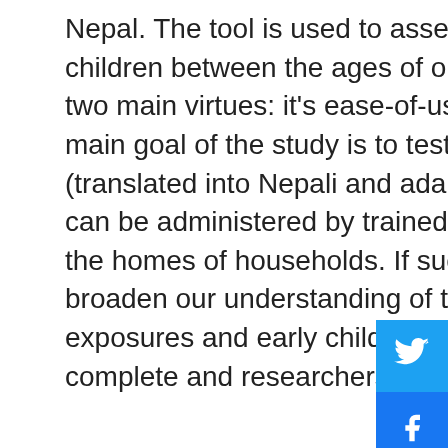Nepal. The tool is used to assess the developmental progress of children between the ages of one month and 5 1/2 years and has two main virtues: it's ease-of-use and parent-centric approach. The main goal of the study is to test whether a locally adapted tool (translated into Nepali and adapted to the context of rural Nepal) can be administered by trained enumerators in a village setting at the homes of households. If successful the tool can be used to broaden our understanding of the linkages between nutrition and exposures and early childhood development. Data collection is complete and researchers are currently analyzing the data.
AflaCohort Study
Collaborating with Helen Keller International, the